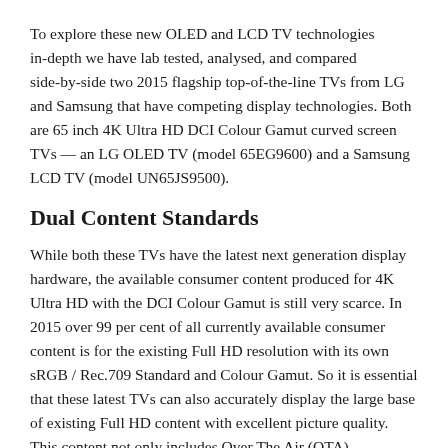To explore these new OLED and LCD TV technologies in-depth we have lab tested, analysed, and compared side-by-side two 2015 flagship top-of-the-line TVs from LG and Samsung that have competing display technologies. Both are 65 inch 4K Ultra HD DCI Colour Gamut curved screen TVs — an LG OLED TV (model 65EG9600) and a Samsung LCD TV (model UN65JS9500).
Dual Content Standards
While both these TVs have the latest next generation display hardware, the available consumer content produced for 4K Ultra HD with the DCI Colour Gamut is still very scarce. In 2015 over 99 per cent of all currently available consumer content is for the existing Full HD resolution with its own sRGB / Rec.709 Standard and Colour Gamut. So it is essential that these latest TVs can also accurately display the large base of existing Full HD content with excellent picture quality. This content not only includes Over The Air (OTA),